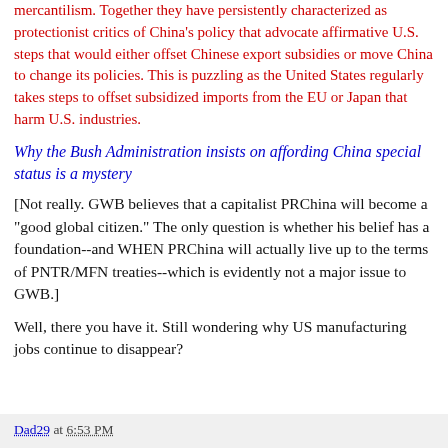mercantilism. Together they have persistently characterized as protectionist critics of China's policy that advocate affirmative U.S. steps that would either offset Chinese export subsidies or move China to change its policies. This is puzzling as the United States regularly takes steps to offset subsidized imports from the EU or Japan that harm U.S. industries.
Why the Bush Administration insists on affording China special status is a mystery
[Not really. GWB believes that a capitalist PRChina will become a "good global citizen." The only question is whether his belief has a foundation--and WHEN PRChina will actually live up to the terms of PNTR/MFN treaties--which is evidently not a major issue to GWB.]
Well, there you have it. Still wondering why US manufacturing jobs continue to disappear?
Dad29 at 6:53 PM